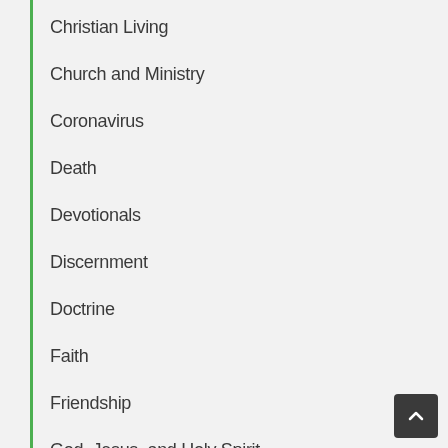Christian Living
Church and Ministry
Coronavirus
Death
Devotionals
Discernment
Doctrine
Faith
Friendship
God, Jesus, and Holy Spirit
God's Will